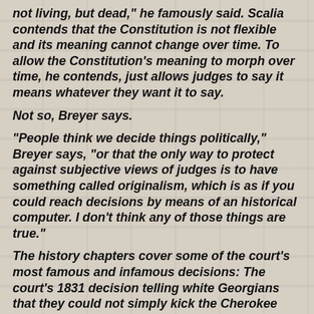not living, but dead," he famously said. Scalia contends that the Constitution is not flexible and its meaning cannot change over time. To allow the Constitution's meaning to morph over time, he contends, just allows judges to say it means whatever they want it to say.
Not so, Breyer says.
“People think we decide things politically,” Breyer says, “or that the only way to protect against subjective views of judges is to have something called originalism, which is as if you could reach decisions by means of an historical computer. I don’t think any of those things are true.”
The history chapters cover some of the court’s most famous and infamous decisions: The court’s 1831 decision telling white Georgians that they could not simply kick the Cherokee Indians off land that was theirs by treaty with the U.S. government, and